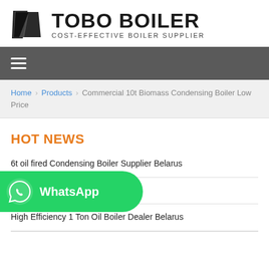[Figure (logo): TOBO BOILER logo with geometric icon and text 'COST-EFFECTIVE BOILER SUPPLIER']
≡ (hamburger menu nav bar)
Home > Products > Commercial 10t Biomass Condensing Boiler Low Price
HOT NEWS
6t oil fired Condensing Boiler Supplier Belarus
...er Dealer Estonia
High Efficiency 1 Ton Oil Boiler Dealer Belarus
[Figure (logo): WhatsApp button overlay with phone icon and 'WhatsApp' text on green rounded rectangle]